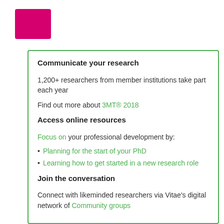[Figure (other): Pink/magenta filled rectangle logo block]
Communicate your research
1,200+ researchers from member institutions take part each year
Find out more about 3MT® 2018
Access online resources
Focus on your professional development by:
Planning for the start of your PhD
Learning how to get started in a new research role
Join the conversation
Connect with likeminded researchers via Vitae's digital network of Community groups